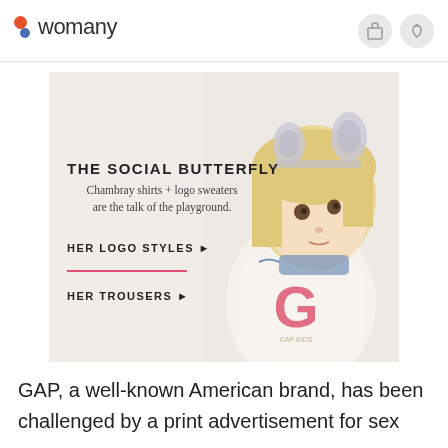womany
[Figure (photo): GAP advertisement showing a young blonde child wearing cat ears headband and a white GAP logo sweater. Text overlay reads: THE SOCIAL BUTTERFLY - Chambray shirts + logo sweaters are the talk of the playground. HER LOGO STYLES▶ HER TROUSERS▶]
GAP, a well-known American brand, has been challenged by a print advertisement for sex